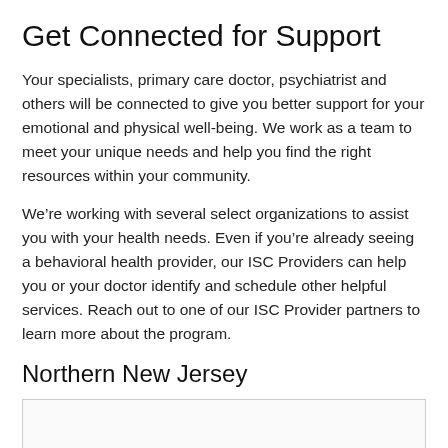Get Connected for Support
Your specialists, primary care doctor, psychiatrist and others will be connected to give you better support for your emotional and physical well-being. We work as a team to meet your unique needs and help you find the right resources within your community.
We’re working with several select organizations to assist you with your health needs. Even if you’re already seeing a behavioral health provider, our ISC Providers can help you or your doctor identify and schedule other helpful services. Reach out to one of our ISC Provider partners to learn more about the program.
Northern New Jersey